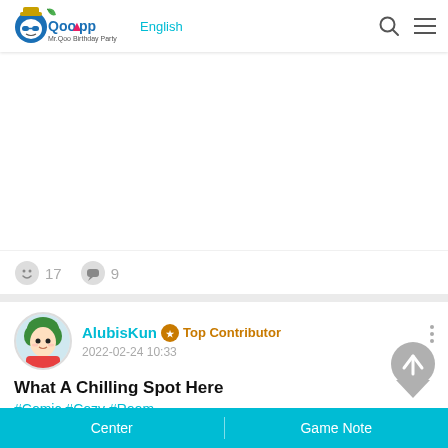QooApp English
[Figure (screenshot): White blank image area for a post, with reaction counts: 17 emoji reactions and 9 comments]
17   9
AlubisKun  Top Contributor
2022-02-24 10:33
What A Chilling Spot Here
#Comic #Cozy #Room
Look at this small cozy spot in a room that is full of love for the manga
Center   Game Note